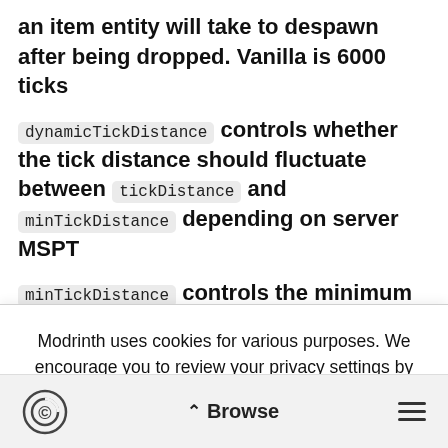an item entity will take to despawn after being dropped. Vanilla is 6000 ticks
dynamicTickDistance controls whether the tick distance should fluctuate between tickDistance and minTickDistance depending on server MSPT
minTickDistance controls the minimum value the tick distance will be if `dynamicTickDistance is enabled
dynamicRenderDistance controls whether the
Modrinth uses cookies for various purposes. We encourage you to review your privacy settings by clicking on the button below:
Review | Accept all
Browse